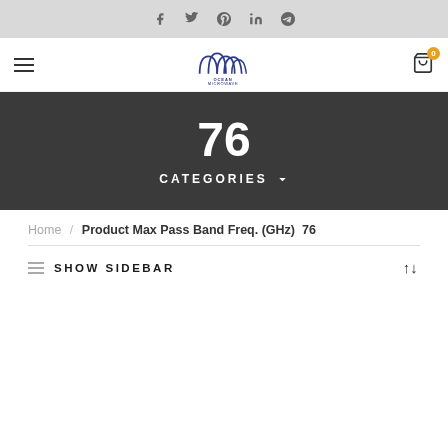Social icons bar: f, twitter, pinterest, linkedin, telegram
Ocean Microwave — navigation bar with hamburger menu and cart (0)
76
CATEGORIES
Home / Product Max Pass Band Freq. (GHz)  76
SHOW SIDEBAR